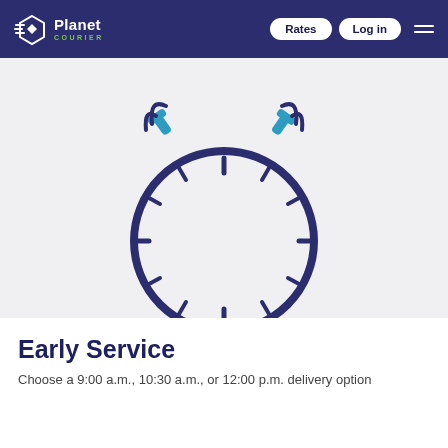Planet Courier — Rates | Log in
[Figure (illustration): Alarm clock icon with blue bell hammers on top, dark navy outline style clock face with tick marks]
Early Service
Choose a 9:00 a.m., 10:30 a.m., or 12:00 p.m. delivery option